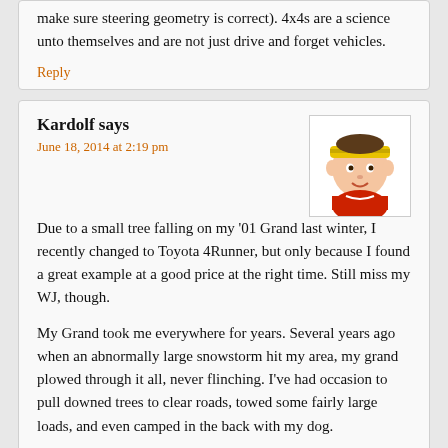make sure steering geometry is correct). 4x4s are a science unto themselves and are not just drive and forget vehicles.
Reply
Kardolf says
June 18, 2014 at 2:19 pm
[Figure (illustration): Avatar/emoji illustration of a cartoon character wearing a yellow headband, with a red garment, round face]
Due to a small tree falling on my '01 Grand last winter, I recently changed to Toyota 4Runner, but only because I found a great example at a good price at the right time. Still miss my WJ, though.
My Grand took me everywhere for years. Several years ago when an abnormally large snowstorm hit my area, my grand plowed through it all, never flinching. I've had occasion to pull downed trees to clear roads, towed some fairly large loads, and even camped in the back with my dog.